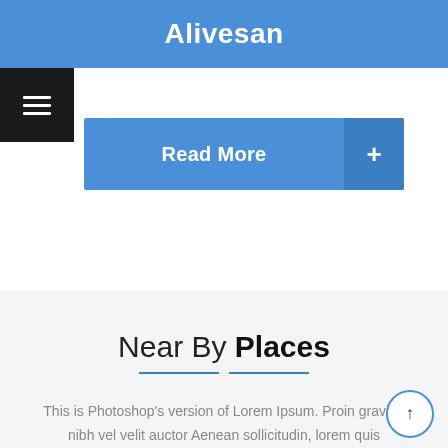Alivesan
[Figure (other): Hamburger menu icon (three horizontal lines) on black background]
[Figure (other): Read More button with plus sign on blue background]
Near By Places
This is Photoshop's version of Lorem Ipsum. Proin gravida nibh vel velit auctor Aenean sollicitudin, lorem quis bibendum...